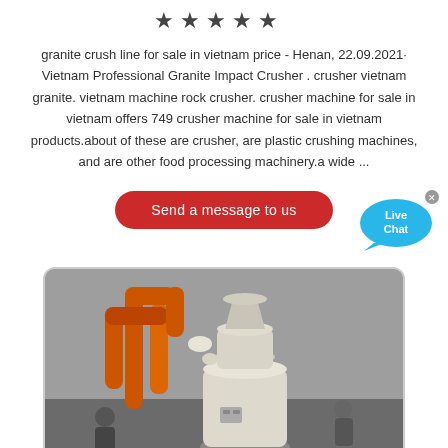[Figure (other): Five black star rating icons displayed in a row]
granite crush line for sale in vietnam price - Henan, 22.09.2021· Vietnam Professional Granite Impact Crusher . crusher vietnam granite. vietnam machine rock crusher. crusher machine for sale in vietnam offers 749 crusher machine for sale in vietnam products.about of these are crusher, are plastic crushing machines, and are other food processing machinery.a wide ...
[Figure (other): Red rounded button labeled 'Send a message to us' with a blue speech bubble 'Live Chat' widget in the upper right corner]
[Figure (photo): Photo of an industrial granite crushing machine (mill grinder) with orange pipes and white/cream cylindrical body, installed in a workshop or facility with workers visible in the background]